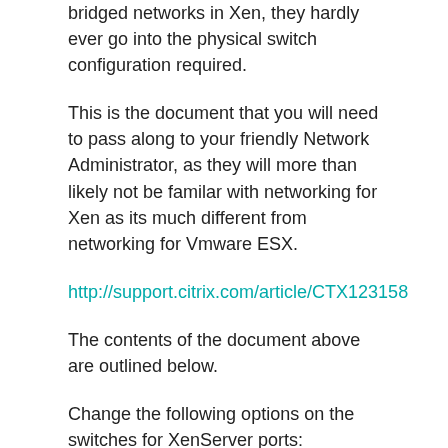bridged networks in Xen, they hardly ever go into the physical switch configuration required.
This is the document that you will need to pass along to your friendly Network Administrator, as they will more than likely not be familar with networking for Xen as its much different from networking for Vmware ESX.
http://support.citrix.com/article/CTX123158
The contents of the document above are outlined below.
Change the following options on the switches for XenServer ports: